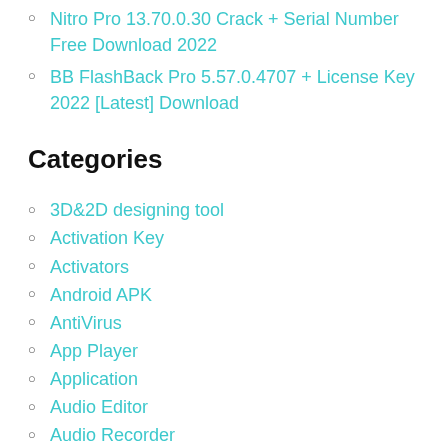Nitro Pro 13.70.0.30 Crack + Serial Number Free Download 2022
BB FlashBack Pro 5.57.0.4707 + License Key 2022 [Latest] Download
Categories
3D&2D designing tool
Activation Key
Activators
Android APK
AntiVirus
App Player
Application
Audio Editor
Audio Recorder